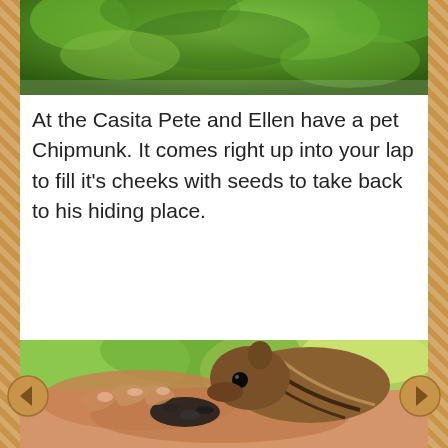[Figure (photo): Top portion of a photo showing green leafy trees/foliage from above, partially cropped at the top of the page.]
At the Casita Pete and Ellen have a pet Chipmunk. It comes right up into your lap to fill it's cheeks with seeds to take back to his hiding place.
[Figure (photo): Close-up photo of a chipmunk eating seeds from a person's hand. The chipmunk has brown and black striped fur and is leaning forward to eat sunflower seeds held in cupped hands. The background shows blurred green foliage.]